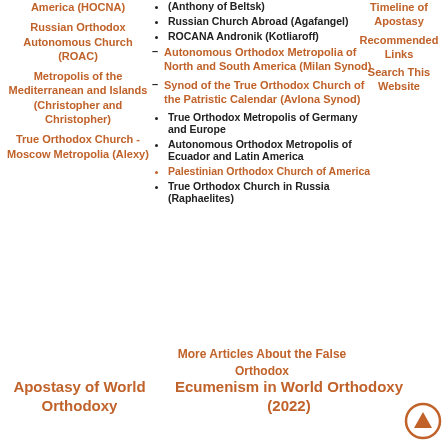America (HOCNA)
Russian Orthodox Autonomous Church (ROAC)
Metropolis of the Mediterranean and Islands (Christopher and Christopher)
True Orthodox Church - Moscow Metropolia (Alexy)
Primate of Russia (Anthony of Beltsk)
Russian Church Abroad (Agafangel)
ROCANA Andronik (Kotliaroff)
Autonomous Orthodox Metropolia of North and South America (Milan Synod)
Synod of the True Orthodox Church of the Patristic Calendar (Avlona Synod)
True Orthodox Metropolis of Germany and Europe
Autonomous Orthodox Metropolis of Ecuador and Latin America
Palestinian Orthodox Church of America
True Orthodox Church in Russia (Raphaelites)
Timeline of Apostasy
Recommended Links
Search This Website
More Articles About the False Orthodox
Apostasy of World Orthodoxy
Ecumenism in World Orthodoxy (2022)